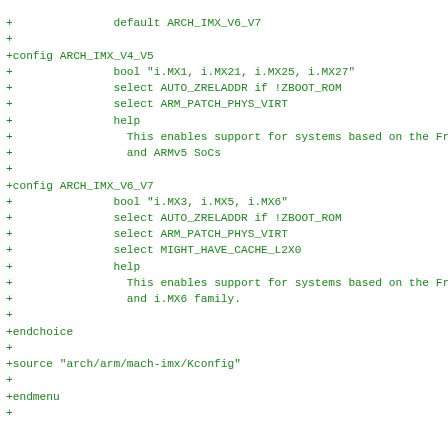+		default ARCH_IMX_V6_V7
+
+config ARCH_IMX_V4_V5
+		bool "i.MX1, i.MX21, i.MX25, i.MX27"
+		select AUTO_ZRELADDR if !ZBOOT_ROM
+		select ARM_PATCH_PHYS_VIRT
+		help
+		  This enables support for systems based on the Frees
+		  and ARMv5 SoCs
+
+config ARCH_IMX_V6_V7
+		bool "i.MX3, i.MX5, i.MX6"
+		select AUTO_ZRELADDR if !ZBOOT_ROM
+		select ARM_PATCH_PHYS_VIRT
+		select MIGHT_HAVE_CACHE_L2X0
+		help
+		  This enables support for systems based on the Frees
+		  and i.MX6 family.
+
+endchoice
+
+source "arch/arm/mach-imx/Kconfig"
+
+endmenu
+